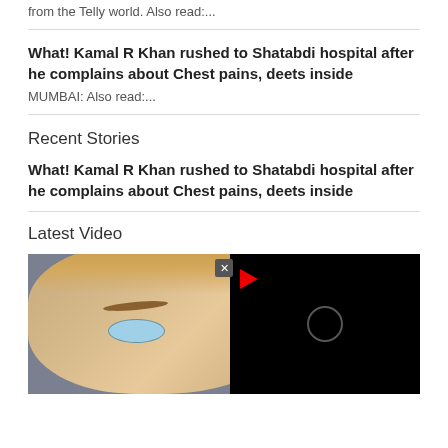from the Telly world.  Also read:....
What! Kamal R Khan rushed to Shatabdi hospital after he complains about Chest pains, deets inside
MUMBAI: Also read:....
Recent Stories
What! Kamal R Khan rushed to Shatabdi hospital after he complains about Chest pains, deets inside
Latest Video
[Figure (photo): Photo of a woman with blonde hair and colorful eye makeup, with a dark video popup overlay showing a play button and loading spinner]